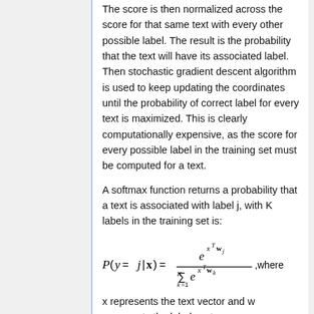The score is then normalized across the score for that same text with every other possible label. The result is the probability that the text will have its associated label. Then stochastic gradient descent algorithm is used to keep updating the coordinates until the probability of correct label for every text is maximized. This is clearly computationally expensive, as the score for every possible label in the training set must be computed for a text.
A softmax function returns a probability that a text is associated with label j, with K labels in the training set is:
x represents the text vector and w represents the label vector.